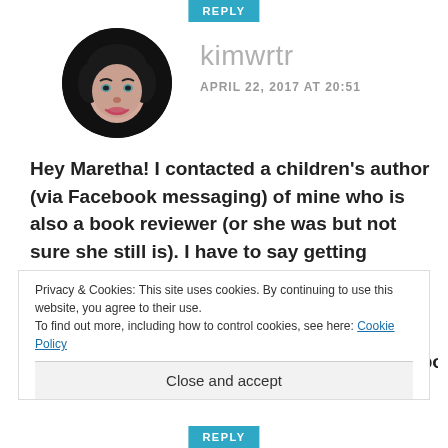REPLY
[Figure (photo): Circular avatar photo of a woman with dark hair against a dark background, black and white style]
kimwrtr
APRIL 22, 2017 AT 20:51
Hey Maretha! I contacted a children's author (via Facebook messaging) of mine who is also a book reviewer (or she was but not sure she still is). I have to say getting reviews is hard for all but I can see where it could be harder for children authors. Anyway, I believe she would be happy to review your books. Hope
Privacy & Cookies: This site uses cookies. By continuing to use this website, you agree to their use.
To find out more, including how to control cookies, see here: Cookie Policy
Close and accept
REPLY